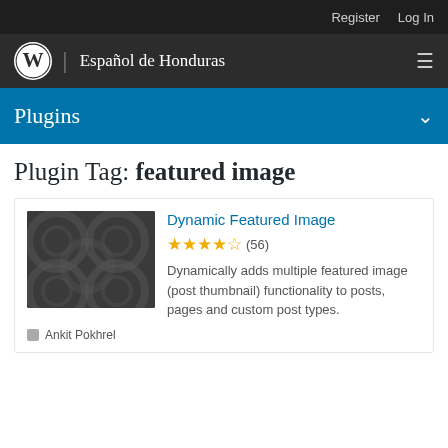Register   Log In
WordPress logo | Español de Honduras  ≡
Plugins ∨
Plugin Tag: featured image
[Figure (screenshot): Plugin thumbnail image with dark background and circular pattern overlay]
Dynamic Featured Image
★★★★½ (56)
Dynamically adds multiple featured image (post thumbnail) functionality to posts, pages and custom post types.
Ankit Pokhrel